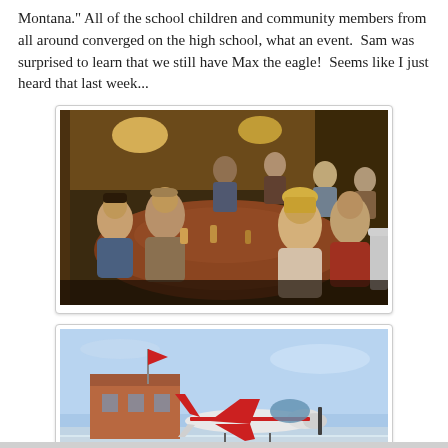Montana." All of the school children and community members from all around converged on the high school, what an event.  Sam was surprised to learn that we still have Max the eagle!  Seems like I just heard that last week...
[Figure (photo): Indoor restaurant/bar scene with people sitting around a large table, warm lighting, wood-paneled walls]
[Figure (photo): Outdoor winter airport scene with a small red and white plane on a snowy tarmac, a brick building with red flag, caption reads 'Stanford, MT  2003']